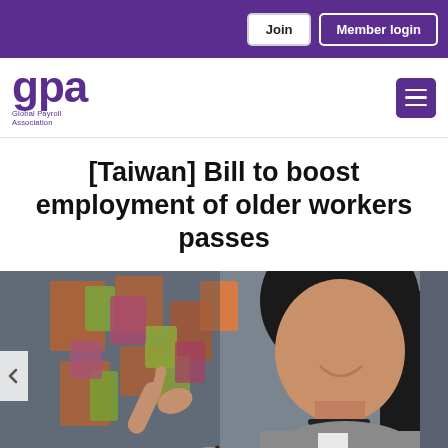Join | Member login
[Figure (logo): GPA - Global Payroll Association logo in purple]
[Taiwan] Bill to boost employment of older workers passes
[Figure (photo): A woman smiling and pointing at colorful sticky notes on a glass wall in an office setting]